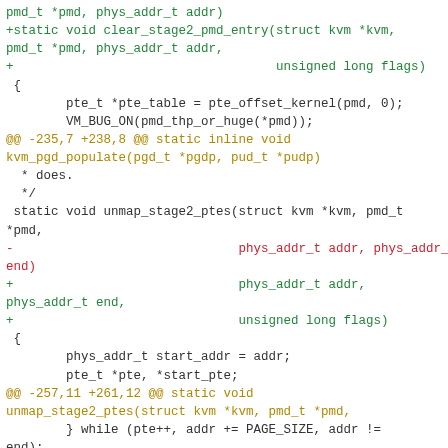Code diff showing changes to clear_stage2_pmd_entry and unmap_stage2_ptes functions in KVM ARM memory management code